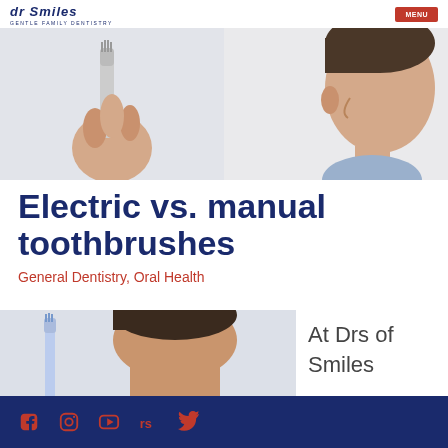Dr Smiles — Gentle Family Dentistry
[Figure (photo): A man holding an electric toothbrush on the left panel, and a side profile of a man's face on the right panel, white background]
Electric vs. manual toothbrushes
General Dentistry, Oral Health
[Figure (photo): A man brushing his teeth with an electric toothbrush, lower half of face visible, with a toothbrush visible on the left side]
At Drs of Smiles
Social media icons: Facebook, Instagram, YouTube, Ratemds, Twitter